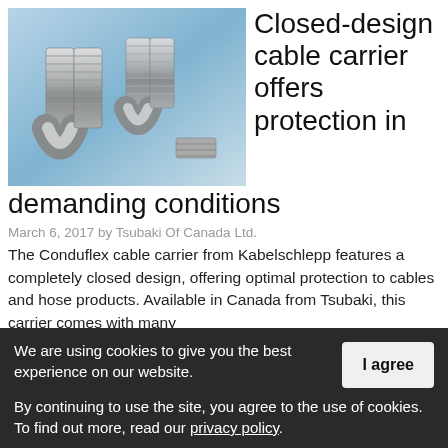[Figure (photo): Photo of Conduflex closed-design cable carriers — metallic flexible conduit tubes bent into U-shapes on a blue background]
Closed-design cable carrier offers protection in demanding conditions
March 6, 2017 by Tsubaki Of Canada Ltd.
The Conduflex cable carrier from Kabelschlepp features a completely closed design, offering optimal protection to cables and hose products. Available in Canada from Tsubaki, this carrier comes with many
We are using cookies to give you the best experience on our website.
By continuing to use the site, you agree to the use of cookies. To find out more, read our privacy policy.